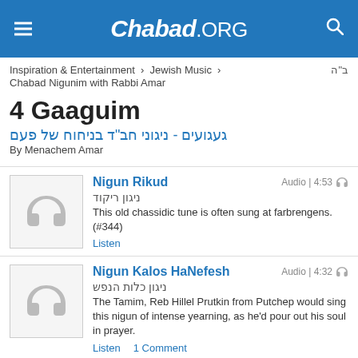Chabad.ORG
Inspiration & Entertainment > Jewish Music > Chabad Nigunim with Rabbi Amar  ב"ה
4 Gaaguim
געגועים - ניגוני חב"ד בניחוח של פעם
By Menachem Amar
Nigun Rikud | Audio | 4:53 | ניגון ריקוד | This old chassidic tune is often sung at farbrengens. (#344) | Listen
Nigun Kalos HaNefesh | Audio | 4:32 | ניגון כלות הנפש | The Tamim, Reb Hillel Prutkin from Putchep would sing this nigun of intense yearning, as he'd pour out his soul in prayer. | Listen | 1 Comment